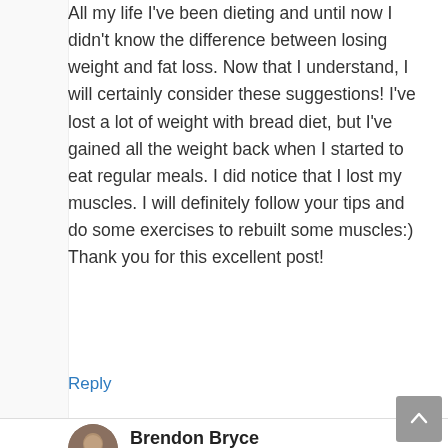All my life I've been dieting and until now I didn't know the difference between losing weight and fat loss. Now that I understand, I will certainly consider these suggestions! I've lost a lot of weight with bread diet, but I've gained all the weight back when I started to eat regular meals. I did notice that I lost my muscles. I will definitely follow your tips and do some exercises to rebuilt some muscles:)
Thank you for this excellent post!
Reply
Brendon Bryce